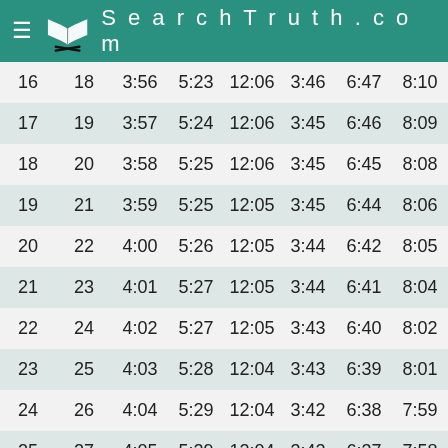SearchTruth.com
| 16 | 18 | 3:56 | 5:23 | 12:06 | 3:46 | 6:47 | 8:10 |
| 17 | 19 | 3:57 | 5:24 | 12:06 | 3:45 | 6:46 | 8:09 |
| 18 | 20 | 3:58 | 5:25 | 12:06 | 3:45 | 6:45 | 8:08 |
| 19 | 21 | 3:59 | 5:25 | 12:05 | 3:45 | 6:44 | 8:06 |
| 20 | 22 | 4:00 | 5:26 | 12:05 | 3:44 | 6:42 | 8:05 |
| 21 | 23 | 4:01 | 5:27 | 12:05 | 3:44 | 6:41 | 8:04 |
| 22 | 24 | 4:02 | 5:27 | 12:05 | 3:43 | 6:40 | 8:02 |
| 23 | 25 | 4:03 | 5:28 | 12:04 | 3:43 | 6:39 | 8:01 |
| 24 | 26 | 4:04 | 5:29 | 12:04 | 3:42 | 6:38 | 7:59 |
| 25 | 27 | 4:05 | 5:29 | 12:04 | 3:42 | 6:37 | 7:58 |
| 26 | 28 | 4:05 | 5:30 | 12:04 | 3:42 | 6:36 | 7:57 |